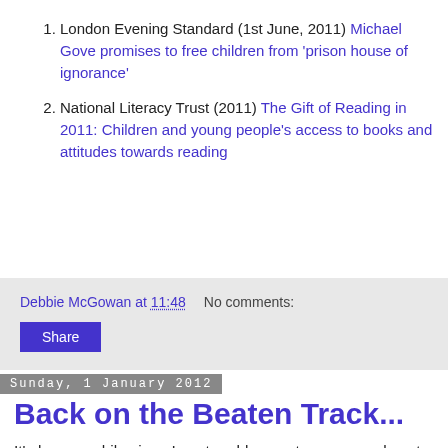London Evening Standard (1st June, 2011) Michael Gove promises to free children from 'prison house of ignorance'
National Literacy Trust (2011) The Gift of Reading in 2011: Children and young people's access to books and attitudes towards reading
Debbie McGowan at 11:48   No comments:
Share
Sunday, 1 January 2012
Back on the Beaten Track...
It's been a while since I wrote a blog post: seven weeks, at a guess, because it was some time in the first half of November, when National Novel Writing Month was in full flow. And whilst little has been happening within the realms